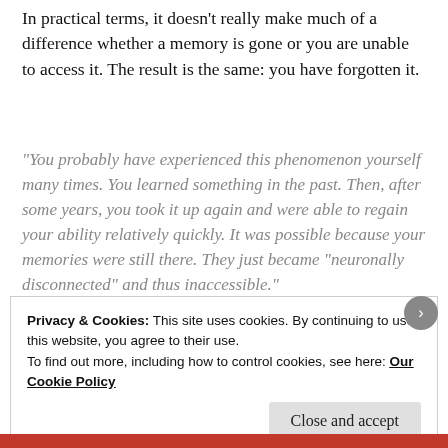In practical terms, it doesn't really make much of a difference whether a memory is gone or you are unable to access it. The result is the same: you have forgotten it.
“You probably have experienced this phenomenon yourself many times. You learned something in the past. Then, after some years, you took it up again and were able to regain your ability relatively quickly. It was possible because your memories were still there. They just became “neuronally disconnected” and thus inaccessible.”
Privacy & Cookies: This site uses cookies. By continuing to use this website, you agree to their use.
To find out more, including how to control cookies, see here: Our Cookie Policy
Close and accept